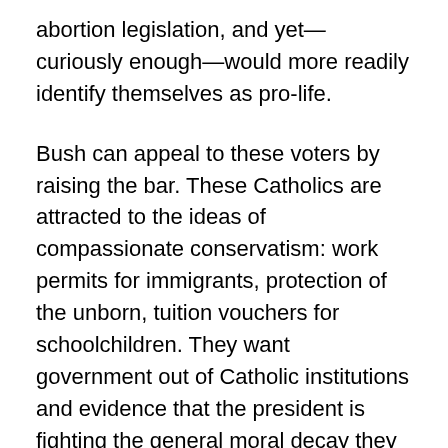abortion legislation, and yet—curiously enough—would more readily identify themselves as pro-life.
Bush can appeal to these voters by raising the bar. These Catholics are attracted to the ideas of compassionate conservatism: work permits for immigrants, protection of the unborn, tuition vouchers for schoolchildren. They want government out of Catholic institutions and evidence that the president is fighting the general moral decay they see in society. The answer is not to vacillate on these issues in the hopes of attracting greater numbers but to demonstrate that he will be a champion for life and those policies he already supports. Bush